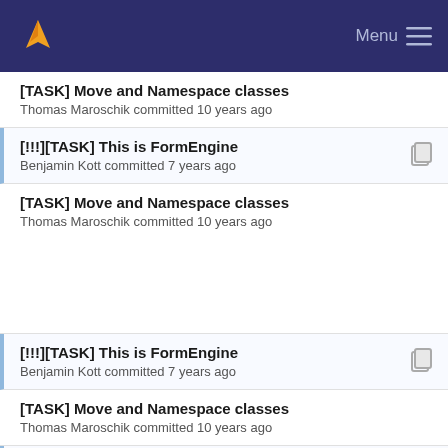Menu
[TASK] Move and Namespace classes
Thomas Maroschik committed 10 years ago
[!!!][TASK] This is FormEngine
Benjamin Kott committed 7 years ago
[TASK] Move and Namespace classes
Thomas Maroschik committed 10 years ago
[!!!][TASK] This is FormEngine
Benjamin Kott committed 7 years ago
[TASK] Move and Namespace classes
Thomas Maroschik committed 10 years ago
[!!!][TASK] This is FormEngine
Benjamin Kott committed 7 years ago
[TASK] Move and Namespace classes